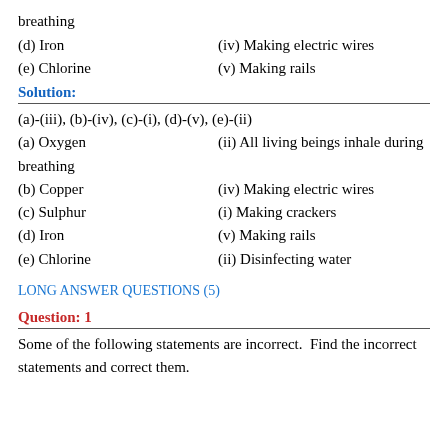breathing
(d) Iron    (iv) Making electric wires
(e) Chlorine    (v) Making rails
Solution:
(a)-(iii), (b)-(iv), (c)-(i), (d)-(v), (e)-(ii)
(a) Oxygen    (ii) All living beings inhale during breathing
(b) Copper    (iv) Making electric wires
(c) Sulphur    (i) Making crackers
(d) Iron    (v) Making rails
(e) Chlorine    (ii) Disinfecting water
LONG ANSWER QUESTIONS (5)
Question: 1
Some of the following statements are incorrect.  Find the incorrect statements and correct them.